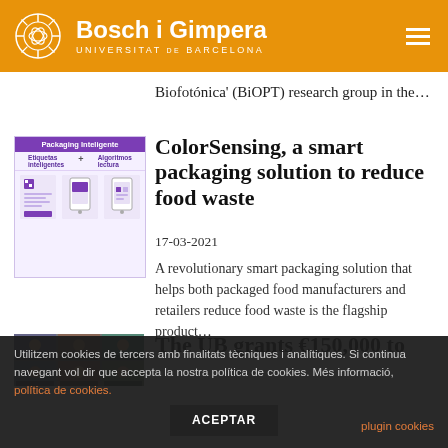Bosch i Gimpera UNIVERSITAT DE BARCELONA
Biofotónica' (BiOPT) research group in the...
ColorSensing, a smart packaging solution to reduce food waste
17-03-2021
A revolutionary smart packaging solution that helps both packaged food manufacturers and retailers reduce food waste is the flagship product...
[Figure (photo): Smart packaging infographic showing 'Packaging Inteligente' with labels for Etiquetas inteligentes and Algoritmos lectura with phone and product images]
The UB grants €150,000 to
[Figure (photo): Video conference screenshot with multiple participants in grid view]
Utilitzem cookies de tercers amb finalitats tècniques i analítiques. Si continua navegant vol dir que accepta la nostra política de cookies. Més informació, política de cookies.
plugin cookies
ACEPTAR